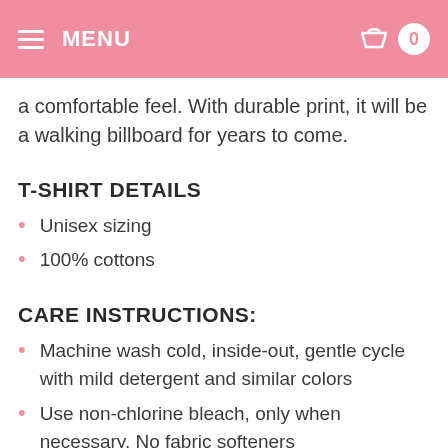MENU  0
a comfortable feel. With durable print, it will be a walking billboard for years to come.
T-SHIRT DETAILS
Unisex sizing
100% cottons
CARE INSTRUCTIONS:
Machine wash cold, inside-out, gentle cycle with mild detergent and similar colors
Use non-chlorine bleach, only when necessary. No fabric softeners